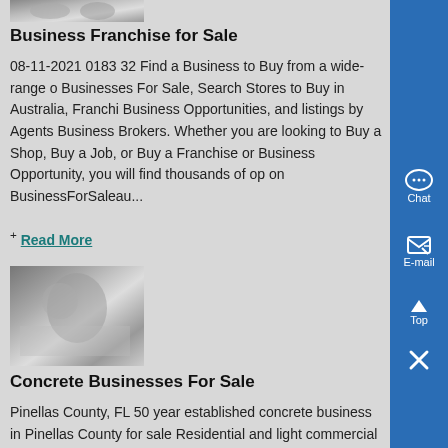[Figure (photo): Partial thumbnail photo of two people at the top of the page]
Business Franchise for Sale
08-11-2021 0183 32 Find a Business to Buy from a wide-range of Businesses For Sale, Search Stores to Buy in Australia, Franchise Business Opportunities, and listings by Agents Business Brokers. Whether you are looking to Buy a Shop, Buy a Job, or Buy a Franchise or Business Opportunity, you will find thousands of op on BusinessForSaleau...
+ Read More
[Figure (photo): Photo of a person near a car or vehicle, concrete business related image]
Concrete Businesses For Sale
Pinellas County, FL 50 year established concrete business in Pinellas County for sale Residential and light commercial with specialties including hitg concrete, wide-range of home services...